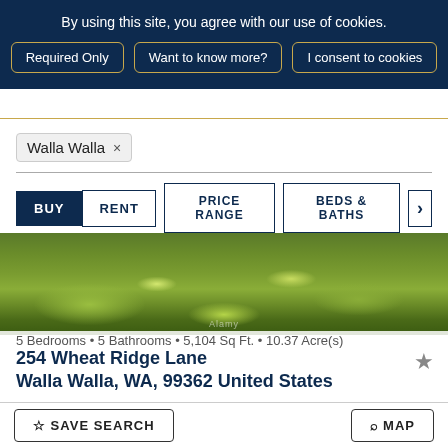By using this site, you agree with our use of cookies.
Required Only
Want to know more?
I consent to cookies
Walla Walla ×
BUY  RENT  PRICE RANGE  BEDS & BATHS  >
[Figure (photo): Aerial/ground-level photo of a grassy field with yellow wildflowers]
254 Wheat Ridge Lane
Walla Walla, WA, 99362 United States
5 Bedrooms • 5 Bathrooms • 5,104 Sq Ft. • 10.37 Acre(s)
SAVE SEARCH
MAP